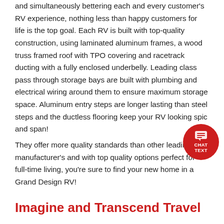and simultaneously bettering each and every customer's RV experience, nothing less than happy customers for life is the top goal. Each RV is built with top-quality construction, using laminated aluminum frames, a wood truss framed roof with TPO covering and racetrack ducting with a fully enclosed underbelly. Leading class pass through storage bays are built with plumbing and electrical wiring around them to ensure maximum storage space. Aluminum entry steps are longer lasting than steel steps and the ductless flooring keep your RV looking spic and span!
They offer more quality standards than other leading manufacturer's and with top quality options perfect for full-time living, you're sure to find your new home in a Grand Design RV!
Imagine and Transcend Travel